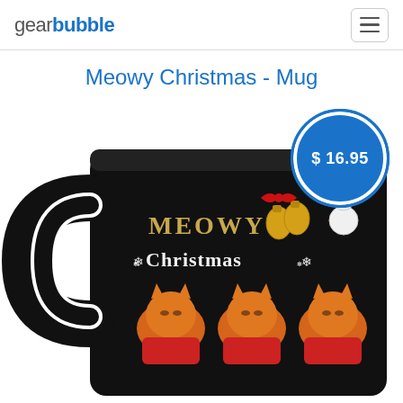gearbubble
Meowy Christmas - Mug
[Figure (photo): A black coffee mug with 'MEOWY Christmas' text in gold, Christmas decorations (bells, bow, snowman, snowflakes), and three orange cats wearing red HO HO HO Santa sweaters. A blue circular price badge shows $16.95.]